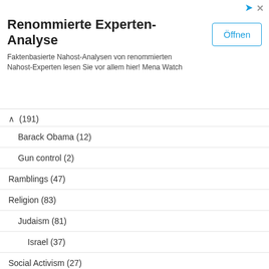[Figure (other): Advertisement banner: Renommierte Experten-Analyse. Faktenbasierte Nahost-Analysen von renommierten Nahost-Experten lesen Sie vor allem hier! Mena Watch. Button: Öffnen]
(191)
Barack Obama (12)
Gun control (2)
Ramblings (47)
Religion (83)
Judaism (81)
Israel (37)
Social Activism (27)
Meta
Log in